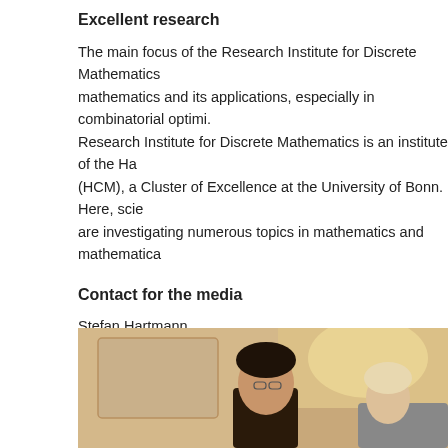Excellent research
The main focus of the Research Institute for Discrete Mathematics mathematics and its applications, especially in combinatorial optimi. Research Institute for Discrete Mathematics is an institute of the Ha (HCM), a Cluster of Excellence at the University of Bonn. Here, scie are investigating numerous topics in mathematics and mathematica
Contact for the media
Stefan Hartmann
Public Relations and Events
Hausdorff Center for Mathematics
University of Bonn
Phone: 0228/733138
Email: stefan.hartmann@hcm.uni-bonn.de
[Figure (photo): A photograph showing two people, partially visible, with warm indoor lighting and a cream/beige background wall.]